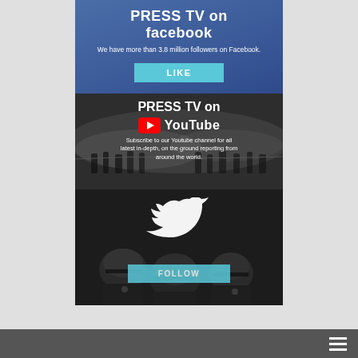PRESS TV on facebook
We have more than 3.8 million followers on Facebook.
LIKE
[Figure (screenshot): PRESS TV on YouTube banner with crowd background image showing smoke and silhouettes]
PRESS TV on YouTube
Subscribe to our Youtube channel for all latest in-depth, on the ground reporting from around the world.
[Figure (screenshot): Twitter follow section with white Twitter bird logo overlaid on dark photo of riot police in helmets]
FOLLOW